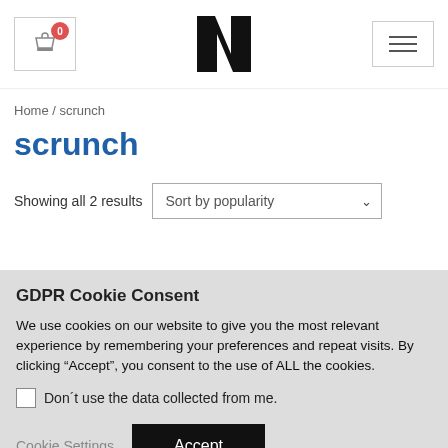[Cart button with badge: 0] [Logo: N] [Menu button]
Home / scrunch
scrunch
Showing all 2 results  Sort by popularity
GDPR Cookie Consent
We use cookies on our website to give you the most relevant experience by remembering your preferences and repeat visits. By clicking “Accept”, you consent to the use of ALL the cookies.
Don´t use the data collected from me.
Cookie Settings  Accept